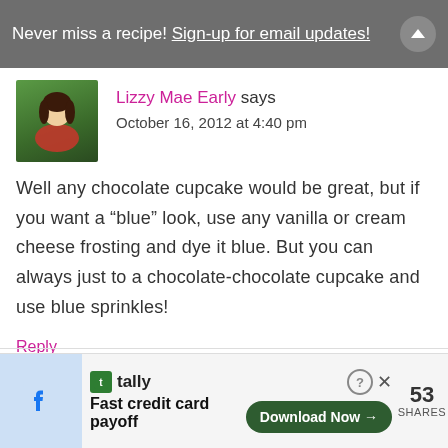Never miss a recipe! Sign-up for email updates!
Lizzy Mae Early says
October 16, 2012 at 4:40 pm
Well any chocolate cupcake would be great, but if you want a “blue” look, use any vanilla or cream cheese frosting and dye it blue. But you can always just to a chocolate-chocolate cupcake and use blue sprinkles!
Reply
Fast credit card payoff  Download Now  53 SHARES